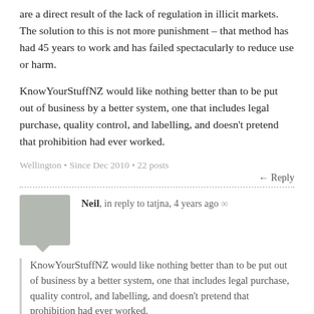are a direct result of the lack of regulation in illicit markets. The solution to this is not more punishment – that method has had 45 years to work and has failed spectacularly to reduce use or harm.
KnowYourStuffNZ would like nothing better than to be put out of business by a better system, one that includes legal purchase, quality control, and labelling, and doesn't pretend that prohibition had ever worked.
Wellington • Since Dec 2010 • 22 posts
↩ Reply
Neil, in reply to tatjna, 4 years ago ∞
KnowYourStuffNZ would like nothing better than to be put out of business by a better system, one that includes legal purchase, quality control, and labelling, and doesn't pretend that prohibition had ever worked.
But not all drugs have the same minimal harm.